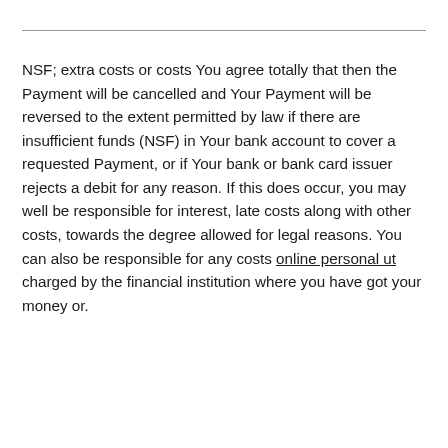NSF; extra costs or costs You agree totally that then the Payment will be cancelled and Your Payment will be reversed to the extent permitted by law if there are insufficient funds (NSF) in Your bank account to cover a requested Payment, or if Your bank or bank card issuer rejects a debit for any reason. If this does occur, you may well be responsible for interest, late costs along with other costs, towards the degree allowed for legal reasons. You can also be responsible for any costs online personal ut charged by the financial institution where you have got your money or.